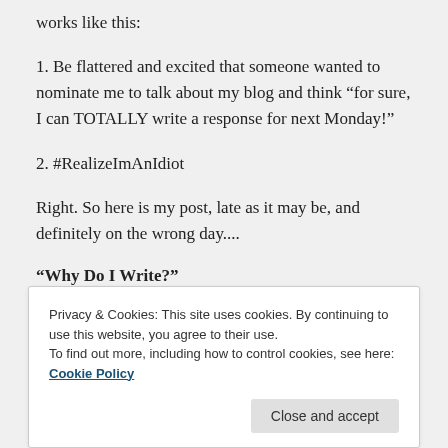works like this:
1. Be flattered and excited that someone wanted to nominate me to talk about my blog and think “for sure, I can TOTALLY write a response for next Monday!”
2. #RealizeImAnIdiot
Right. So here is my post, late as it may be, and definitely on the wrong day....
“Why Do I Write?”
Privacy & Cookies: This site uses cookies. By continuing to use this website, you agree to their use.
To find out more, including how to control cookies, see here: Cookie Policy
Close and accept